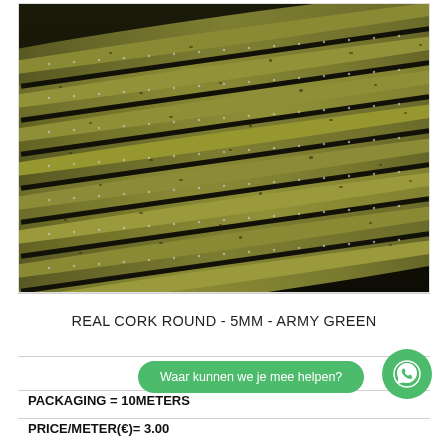[Figure (photo): Close-up photo of army green cork round cord, 5mm diameter, showing multiple strands with silver dotted texture along the ridges]
REAL CORK ROUND - 5MM - ARMY GREEN
Waar kunnen we je mee helpen?
PACKAGING = 10METERS
PRICE/METER(€)= 3.00